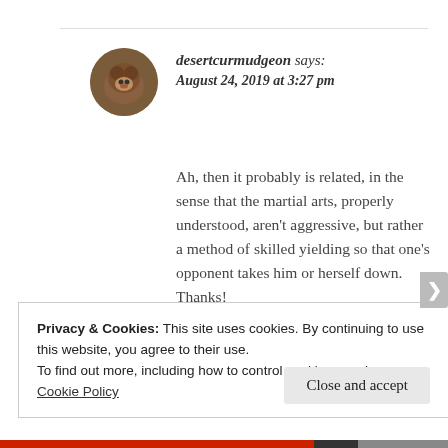desertcurmudgeon says: August 24, 2019 at 3:27 pm
Ah, then it probably is related, in the sense that the martial arts, properly understood, aren't aggressive, but rather a method of skilled yielding so that one's opponent takes him or herself down. Thanks!
Privacy & Cookies: This site uses cookies. By continuing to use this website, you agree to their use.
To find out more, including how to control cookies, see here: Cookie Policy
Close and accept